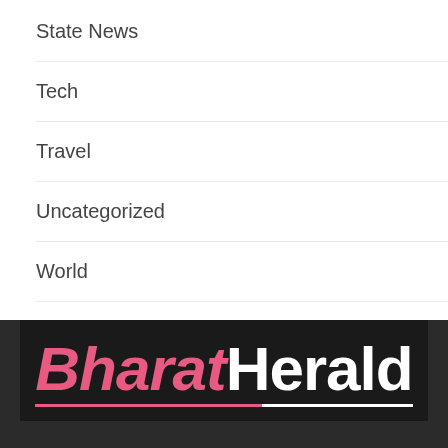State News
Tech
Travel
Uncategorized
World
[Figure (logo): Bharat Herald logo — 'Bharat' in italic pink bold text, 'Herald' in white bold text, on black background with pink/white underline]
Bharat Herald, digital news and story platform bring y news, articles, stories, and opinions on the latest happ worldwide covering various sectors like nation, politics, and